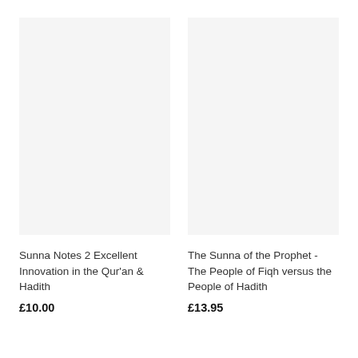[Figure (other): Book cover placeholder – light grey rectangle for Sunna Notes 2 Excellent Innovation in the Qur'an & Hadith]
Sunna Notes 2 Excellent Innovation in the Qur'an & Hadith
£10.00
[Figure (other): Book cover placeholder – light grey rectangle for The Sunna of the Prophet - The People of Fiqh versus the People of Hadith]
The Sunna of the Prophet - The People of Fiqh versus the People of Hadith
£13.95